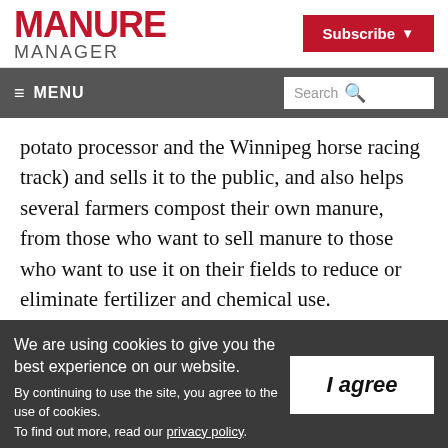MANURE MANAGER | Subscribe
≡ MENU | Search
potato processor and the Winnipeg horse racing track) and sells it to the public, and also helps several farmers compost their own manure, from those who want to sell manure to those who want to use it on their fields to reduce or eliminate fertilizer and chemical use.
We are using cookies to give you the best experience on our website. By continuing to use the site, you agree to the use of cookies. To find out more, read our privacy policy.